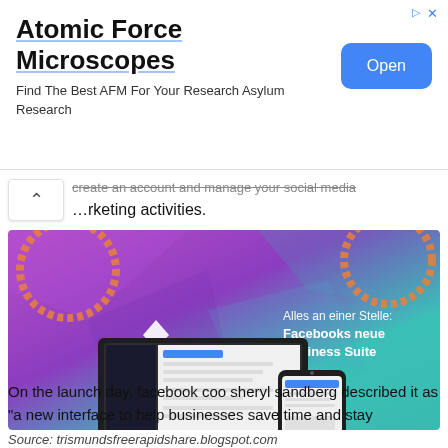[Figure (screenshot): Advertisement banner for Atomic Force Microscopes: 'Find The Best AFM For Your Research Asylum Research' with a blue Open button]
...rketing activities.
[Figure (screenshot): Facebook Business Suite promotional image showing a laptop and phone with colorful gradient background and text: 'Alles an einer Stelle. Facebooks neue Business Suite']
Source: trismundsfreerapidshare.blogspot.com
On the launch day, facebook coo sheryl sandberg described it as "a new interface to help businesses save time and stay